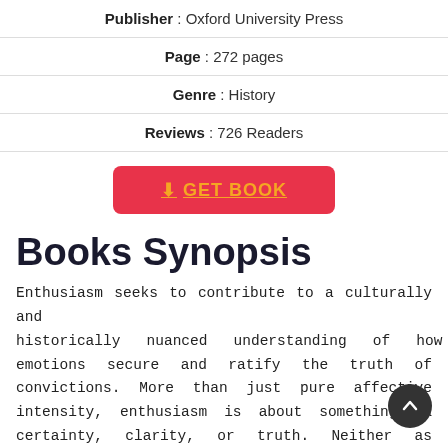Publisher : Oxford University Press
Page : 272 pages
Genre : History
Reviews : 726 Readers
[Figure (other): Red GET BOOK button with download icon]
Books Synopsis
Enthusiasm seeks to contribute to a culturally and historically nuanced understanding of how emotions secure and ratify the truth of convictions. More than just pure affective intensity, enthusiasm is about something: a certainty, clarity, or truth. Neither as clearly negative as fanaticism nor as general as passion, enthusiasm specifically entails